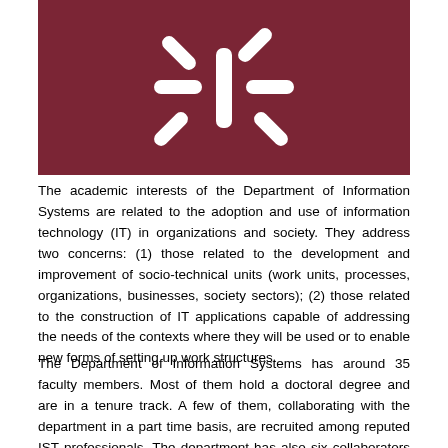[Figure (logo): Dark red/maroon background with a white abstract logo consisting of a vertical bar in the center with diagonal lines radiating out from it (resembling a stylized asterisk or star shape)]
The academic interests of the Department of Information Systems are related to the adoption and use of information technology (IT) in organizations and society. They address two concerns: (1) those related to the development and improvement of socio-technical units (work units, processes, organizations, businesses, society sectors); (2) those related to the construction of IT applications capable of addressing the needs of the contexts where they will be used or to enable new forms of setting up work structures.
The Department of Information Systems has around 35 faculty members. Most of them hold a doctoral degree and are in a tenure track. A few of them, collaborating with the department in a part time basis, are recruited among reputed IST professionals. The department has also six collaborators with administrative